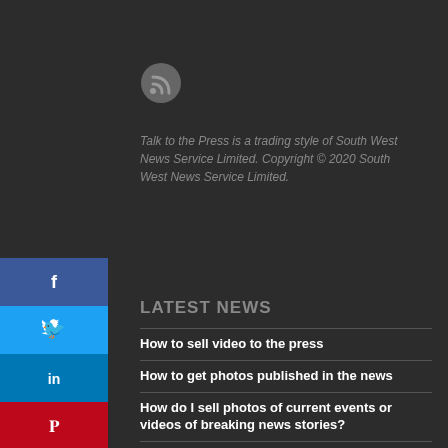[Figure (logo): RSS feed icon, circular grey icon with wifi-style signal lines]
Talk to the Press is a trading style of South West News Service Limited. Copyright © 2020 South West News Service Limited.
LATEST NEWS
How to sell video to the press
How to get photos published in the news
How do I sell photos of current events or videos of breaking news stories?
How sell an old photo of a celebrity
Have you seen or suffered an injustice that needs to be publicized?
How do I get my story published?